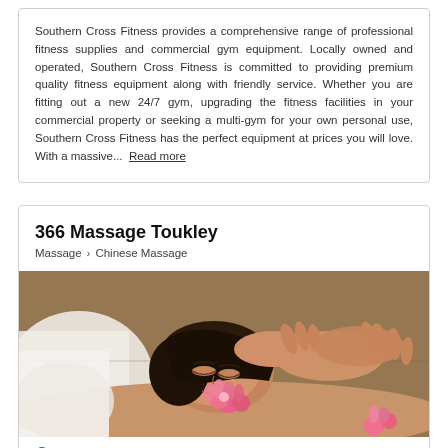Southern Cross Fitness provides a comprehensive range of professional fitness supplies and commercial gym equipment. Locally owned and operated, Southern Cross Fitness is committed to providing premium quality fitness equipment along with friendly service. Whether you are fitting out a new 24/7 gym, upgrading the fitness facilities in your commercial property or seeking a multi-gym for your own personal use, Southern Cross Fitness has the perfect equipment at prices you will love. With a massive...  Read more
366 Massage Toukley
Massage > Chinese Massage
[Figure (photo): A woman receiving a head massage while lying down, with pink flowers in her hair, being treated by a therapist's hands.]
366 Main Road Toukley 2263, Toukley, NSW 2263